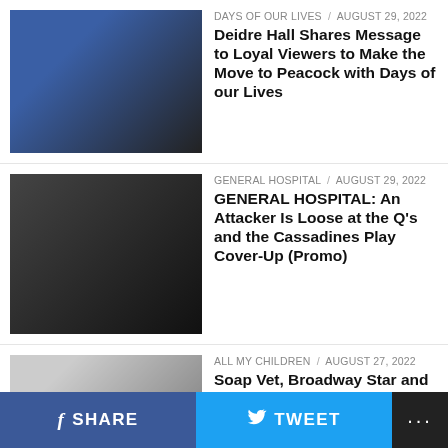[Figure (photo): Thumbnail photo of a woman with blonde hair wearing a blue jacket]
DAYS OF OUR LIVES / August 29, 2022
Deidre Hall Shares Message to Loyal Viewers to Make the Move to Peacock with Days of our Lives
[Figure (photo): Thumbnail collage of two men with dramatic lighting]
GENERAL HOSPITAL / August 29, 2022
GENERAL HOSPITAL: An Attacker Is Loose at the Q's and the Cassadines Play Cover-Up (Promo)
[Figure (photo): Thumbnail photo of a bald man in a suit smiling]
ALL MY CHILDREN / August 27, 2022
Soap Vet, Broadway Star and Artistic Director, Robert Lupone Passes Away at 76
[Figure (photo): Thumbnail photo of two men, one older with glasses and one younger with beard]
GENERAL HOSPITAL / August 27, 2022
GH's John J. York On If Cody Turns Out to Be Mac's Son: "It Would Certainly Change Things, and Would That Be a Good Thing or a Bad Thing for His Family?"
[Figure (photo): Partial thumbnail photo at bottom]
GENERAL HOSPITAL / August 27, 2022
SHARE   TWEET   ...